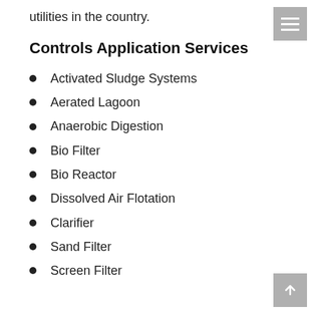utilities in the country.
Controls Application Services
Activated Sludge Systems
Aerated Lagoon
Anaerobic Digestion
Bio Filter
Bio Reactor
Dissolved Air Flotation
Clarifier
Sand Filter
Screen Filter